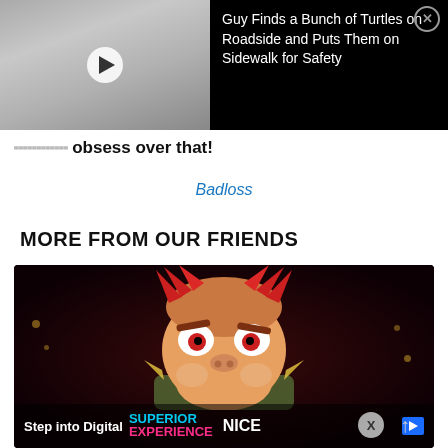[Figure (screenshot): Video thumbnail showing a road/sidewalk scene with a play button overlay, next to a black panel with the title text and a close button]
Guy Finds a Bunch of Turtles on Roadside and Puts Them on Sidewalk for Safety
obsess over that!
Badloss
MORE FROM OUR FRIENDS
[Figure (screenshot): Video frame showing Bowser (Nintendo character) face close-up on dark red background, with an advertisement bar at the bottom reading 'Step into Digital SUPERIENCE NICE' with a blue play icon and X close button]